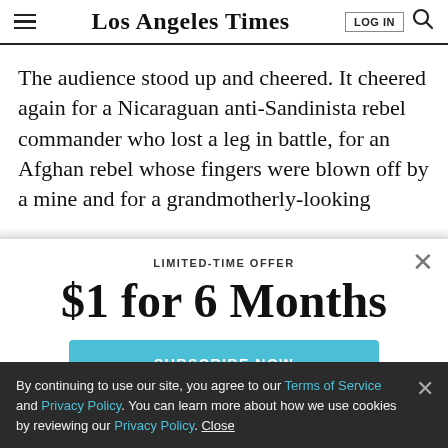Los Angeles Times
The audience stood up and cheered. It cheered again for a Nicaraguan anti-Sandinista rebel commander who lost a leg in battle, for an Afghan rebel whose fingers were blown off by a mine and for a grandmotherly-looking
[Figure (screenshot): Subscription modal overlay with LIMITED-TIME OFFER, $1 for 6 Months, and SUBSCRIBE NOW button in teal]
By continuing to use our site, you agree to our Terms of Service and Privacy Policy. You can learn more about how we use cookies by reviewing our Privacy Policy. Close